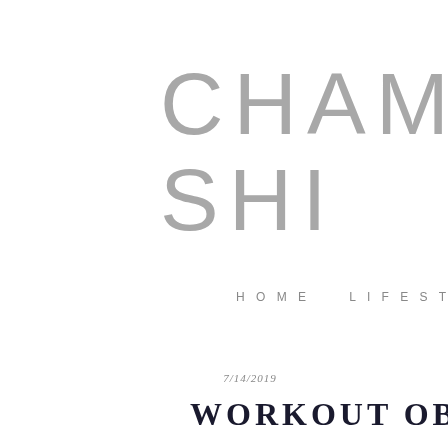CHAM... SHI...
HOME   LIFESTYLE   FASHION   R
7/14/2019
WORKOUT OBSESSIO...